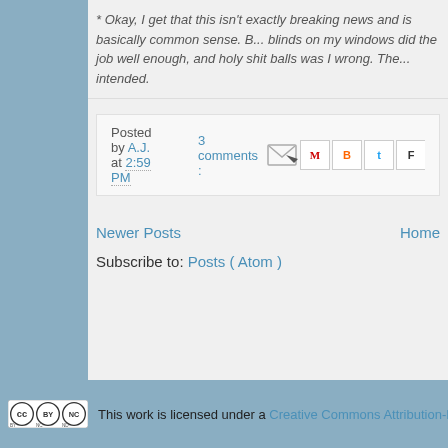* Okay, I get that this isn't exactly breaking news and is basically common sense. B... blinds on my windows did the job well enough, and holy shit balls was I wrong. The... intended.
Posted by A.J. at 2:59 PM. 3 comments :
Newer Posts  Home
Subscribe to: Posts ( Atom )
This work is licensed under a Creative Commons Attribution-NonCommercial...